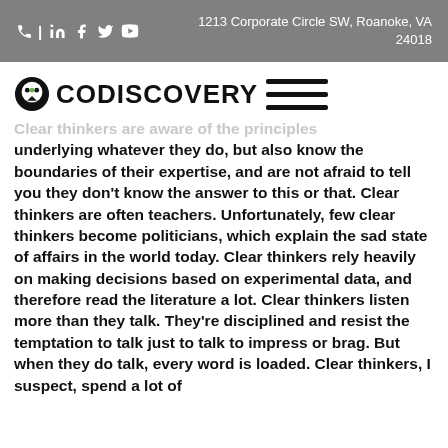| in f y ▶   1213 Corporate Circle SW, Roanoke, VA 24018
[Figure (logo): Codiscovery logo with speech bubble icon and hamburger menu lines]
Clear thinkers are aware of the principles underlying whatever they do, but also know the boundaries of their expertise, and are not afraid to tell you they don't know the answer to this or that.  Clear thinkers are often teachers. Unfortunately, few clear thinkers become politicians, which explain the sad state of affairs in the world today. Clear thinkers rely heavily on making decisions based on experimental data, and therefore read the literature a lot. Clear thinkers listen more than they talk.  They're disciplined and resist the temptation to talk just to talk to impress or brag.  But when they do talk, every word is loaded. Clear thinkers, I suspect, spend a lot of